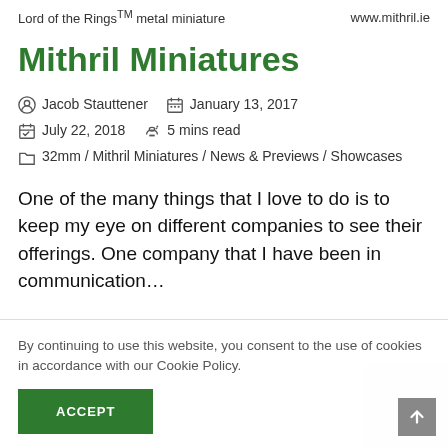Lord of the Rings™ metal miniature    www.mithril.ie
Mithril Miniatures
Jacob Stauttener   January 13, 2017   July 22, 2018   5 mins read   32mm / Mithril Miniatures / News & Previews / Showcases
One of the many things that I love to do is to keep my eye on different companies to see their offerings. One company that I have been in communication…
By continuing to use this website, you consent to the use of cookies in accordance with our Cookie Policy.